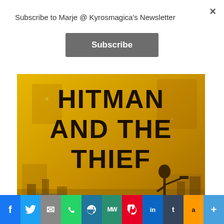Subscribe to Marje @ Kyrosmagica's Newsletter
×
Subscribe
[Figure (illustration): Book cover for 'Hitman and the Thief' with yellow/gold background, large dark text reading 'HITMAN AND THE THIEF', figure of a person holding a gun in lower right area]
Advertisements
$39.99
[Figure (infographic): Social sharing bar with icons: Facebook, Twitter, Email, WhatsApp, WordPress, MW, Pinterest, LinkedIn, Tumblr, Amazon, Plus]